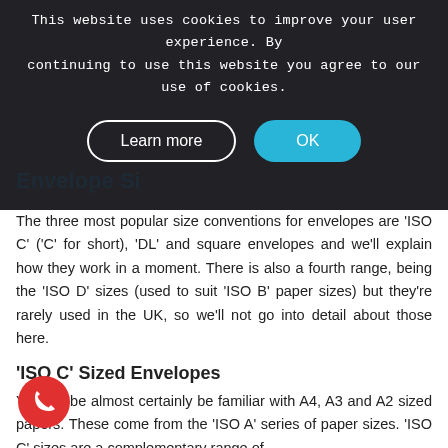This website uses cookies to improve your user experience. By continuing to use this website you agree to our use of cookies.
Learn more   OK
Envelope Si...
The three most popular size conventions for envelopes are 'ISO C' ('C' for short), 'DL' and square envelopes and we'll explain how they work in a moment. There is also a fourth range, being the 'ISO D' sizes (used to suit 'ISO B' paper sizes) but they're rarely used in the UK, so we'll not go into detail about those here.
'ISO C' Sized Envelopes
You will be almost certainly be familiar with A4, A3 and A2 sized papers. These come from the 'ISO A' series of paper sizes. 'ISO C' sizes are a complementary range of sizes that are widely used with envelopes to house 'A' papers. So, for example, an unfolded A4 letter would fit neatly inside a C4 envelope (with a little